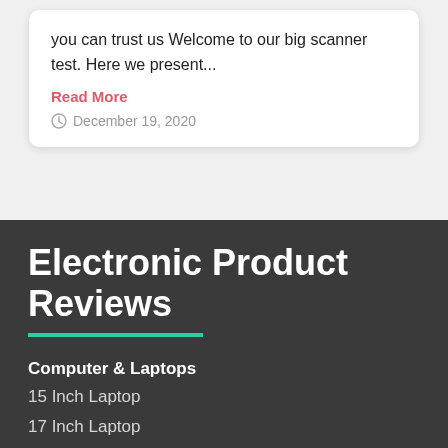you can trust us Welcome to our big scanner test. Here we present...
Read More
December 19, 2020
Electronic Product Reviews
Computer & Laptops
15 Inch Laptop
17 Inch Laptop